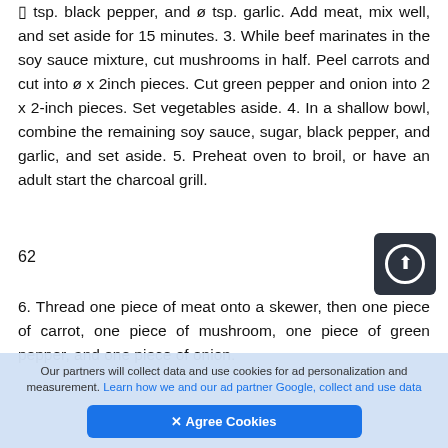¼ tsp. black pepper, and ø tsp. garlic. Add meat, mix well, and set aside for 15 minutes. 3. While beef marinates in the soy sauce mixture, cut mushrooms in half. Peel carrots and cut into ø x 2inch pieces. Cut green pepper and onion into 2 x 2-inch pieces. Set vegetables aside. 4. In a shallow bowl, combine the remaining soy sauce, sugar, black pepper, and garlic, and set aside. 5. Preheat oven to broil, or have an adult start the charcoal grill.
62
6. Thread one piece of meat onto a skewer, then one piece of carrot, one piece of mushroom, one piece of green pepper, and one piece of onion.
Our partners will collect data and use cookies for ad personalization and measurement. Learn how we and our ad partner Google, collect and use data